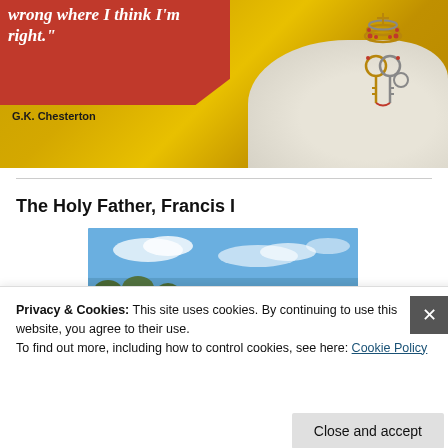[Figure (illustration): Gold mosaic background with a red speech bubble containing a quote in white italic text: 'wrong where I think I'm right.' with attribution 'G.K. Chesterton' below. On the right side is a Vatican-style papal emblem (tiara and keys) on a grey stone texture background.]
The Holy Father, Francis I
[Figure (photo): Partial photograph showing a landscape with blue sky and clouds, with trees or hills visible at the bottom edge.]
Privacy & Cookies: This site uses cookies. By continuing to use this website, you agree to their use.
To find out more, including how to control cookies, see here: Cookie Policy